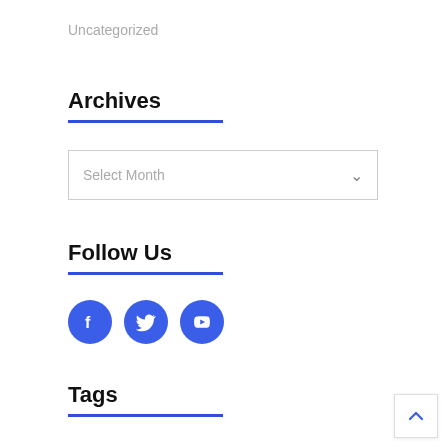Uncategorized
Archives
Select Month
Follow Us
[Figure (other): Three social media icon buttons (Facebook, Twitter, YouTube) as blue circles with white icons]
Tags